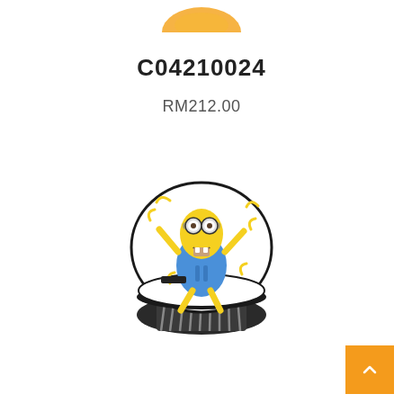[Figure (photo): Partial view of a cake/cupcake product image at the top of the page (cropped).]
C04210024
RM212.00
[Figure (photo): A decorated cupcake with white frosting topped with a Minion character design (yellow Minion in blue overalls surrounded by bananas), sitting in a dark ridged cupcake wrapper.]
[Figure (other): Orange square button with a white upward-pointing chevron arrow, positioned at the bottom right corner.]